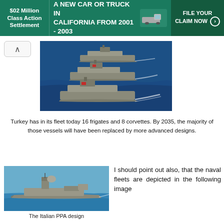[Figure (infographic): Green banner advertisement: '$02 Million Class Action Settlement - A NEW CAR OR TRUCK IN CALIFORNIA FROM 2001 - 2003 - FILE YOUR CLAIM NOW']
[Figure (photo): Aerial view of three Turkish naval frigates sailing in formation on blue ocean water]
Turkey has in its fleet today 16 frigates and 8 corvettes. By 2035, the majority of those vessels will have been replaced by more advanced designs.
[Figure (photo): The Italian PPA (Pattugliatore Polivalente d'Altura) naval ship design, a modern grey warship on calm water]
The Italian PPA design
I should point out also, that the naval fleets are depicted in the following image